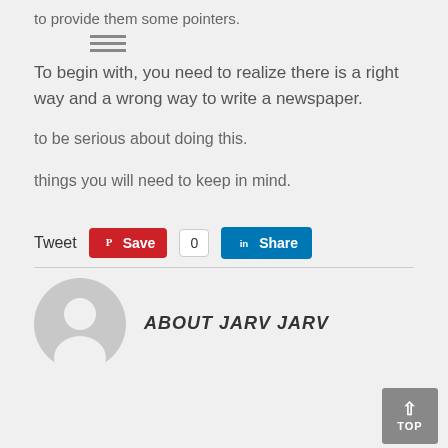to provide them some pointers.
To begin with, you need to realize there is a right way and a wrong way to write a newspaper.
to be serious about doing this.
things you will need to keep in mind.
Tweet | Save | 0 | Share
ABOUT JARV JARV